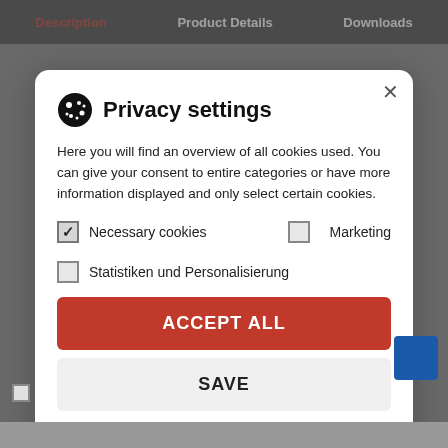Description | Product Details | Downloads
Privacy settings
Here you will find an overview of all cookies used. You can give your consent to entire categories or have more information displayed and only select certain cookies.
✓ Necessary cookies
Marketing
Statistiken und Personalisierung
ACCEPT ALL
SAVE
Custom Cookie Settings
Privacy | Imprint